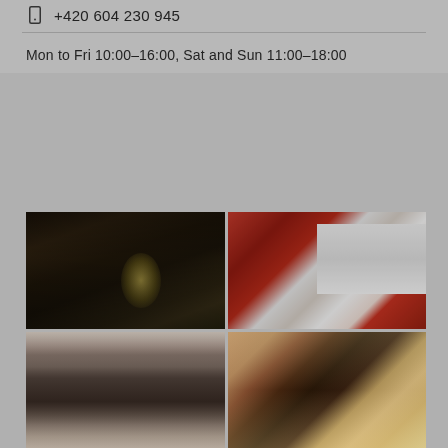+420 604 230 945
Mon to Fri 10:00–16:00, Sat and Sun 11:00–18:00
[Figure (photo): Four-photo grid: top-left shows a person working in a dark workshop interior with a desk lamp; top-right shows close-up of hands sewing red fabric with a sewing machine; bottom-left shows exterior storefront with signs reading BUTIKY and PUPPET; bottom-right shows a woman with red hair working at a craft table.]